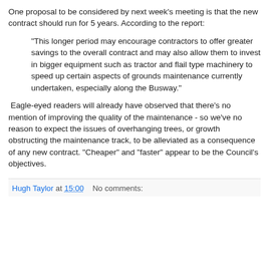One proposal to be considered by next week's meeting is that the new contract should run for 5 years. According to the report:
"This longer period may encourage contractors to offer greater savings to the overall contract and may also allow them to invest in bigger equipment such as tractor and flail type machinery to speed up certain aspects of grounds maintenance currently undertaken, especially along the Busway."
Eagle-eyed readers will already have observed that there's no mention of improving the quality of the maintenance - so we've no reason to expect the issues of overhanging trees, or growth obstructing the maintenance track, to be alleviated as a consequence of any new contract. "Cheaper" and "faster" appear to be the Council's objectives.
Hugh Taylor at 15:00    No comments: